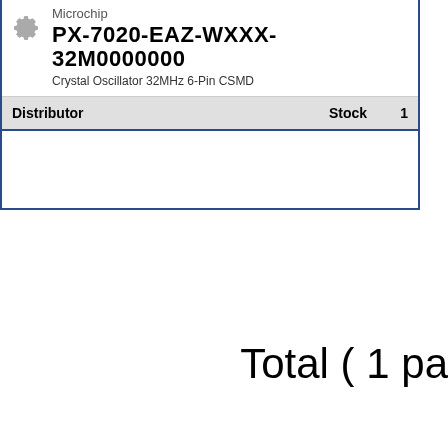Microchip
PX-7020-EAZ-WXXX-32M0000000
Crystal Oscillator 32MHz 6-Pin CSMD
| Distributor | Stock | 1 |
| --- | --- | --- |
Total ( 1 pa